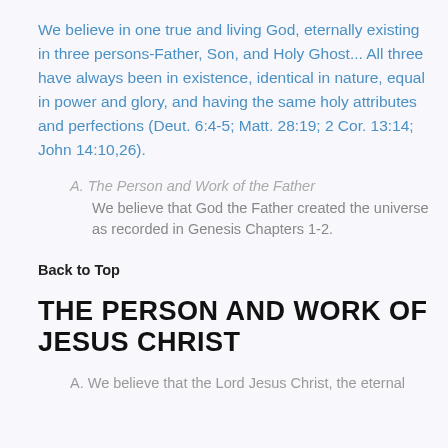We believe in one true and living God, eternally existing in three persons-Father, Son, and Holy Ghost... All three have always been in existence, identical in nature, equal in power and glory, and having the same holy attributes and perfections (Deut. 6:4-5; Matt. 28:19; 2 Cor. 13:14; John 14:10,26).
A. The Person and Work of the Father
We believe that God the Father created the universe as recorded in Genesis Chapters 1-2.
Back to Top
THE PERSON AND WORK OF JESUS CHRIST
A. We believe that the Lord Jesus Christ, the eternal